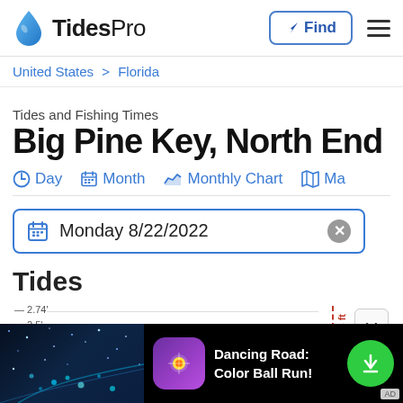TidesPro — Find
United States > Florida
Tides and Fishing Times
Big Pine Key, North End
Day   Month   Monthly Chart   Ma
Monday 8/22/2022
Tides
[Figure (continuous-plot): Partial tide chart showing y-axis labels 2.74' and 2.5', with a red dashed vertical marker labeled '0.3 ft' on the right side and a chevron/expand button]
[Figure (infographic): Advertisement banner for Dancing Road: Color Ball Run! app, showing a dark starfield background image on left, purple app icon in center, text 'Dancing Road: Color Ball Run!', and green download button]